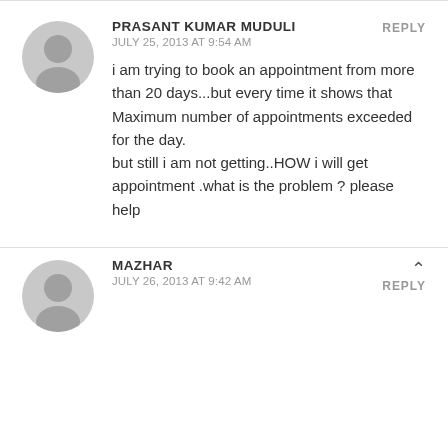PRASANT KUMAR MUDULI
JULY 25, 2013 AT 9:54 AM
i am trying to book an appointment from more than 20 days...but every time it shows that Maximum number of appointments exceeded for the day.
but still i am not getting..HOW i will get appointment .what is the problem ? please help
MAZHAR
JULY 26, 2013 AT 9:42 AM